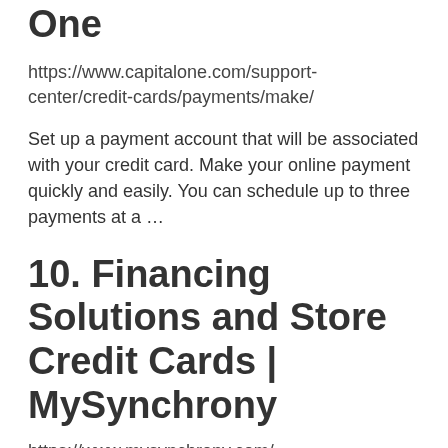One
https://www.capitalone.com/support-center/credit-cards/payments/make/
Set up a payment account that will be associated with your credit card. Make your online payment quickly and easily. You can schedule up to three payments at a …
10. Financing Solutions and Store Credit Cards | MySynchrony
https://www.mysynchrony.com/
One card. … Or simply want to make a payment, check balances, available credit? W…